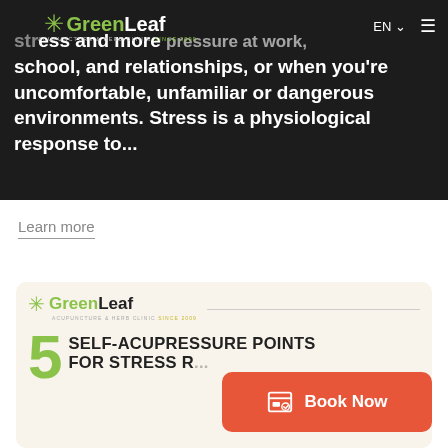GreenLeaf Acupuncture & Herb Clinic — EN navigation
school, and relationships, or when you're uncomfortable, unfamiliar or dangerous environments. Stress is a physiological response to...
Learn more
[Figure (logo): GreenLeaf Acupuncture & Herb Clinic logo with green leaf/star icon]
5 SELF-ACUPRESSURE POINTS FOR STRESS R...
[Figure (infographic): Book Now button with calendar icon in coral/orange color]